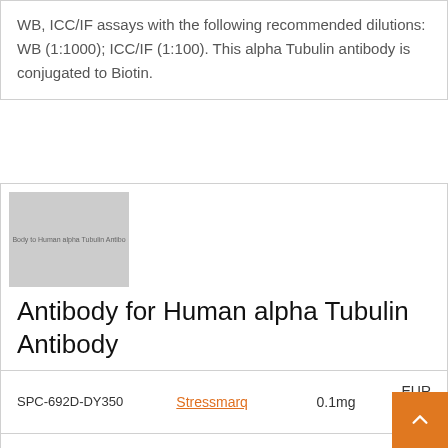WB, ICC/IF assays with the following recommended dilutions: WB (1:1000); ICC/IF (1:100). This alpha Tubulin antibody is conjugated to Biotin.
[Figure (photo): Gray placeholder image for Antibody for Human alpha Tubulin Antibody product]
Antibody for Human alpha Tubulin Antibody
| SKU | Brand | Size | Price |
| --- | --- | --- | --- |
| SPC-692D-DY350 | Stressmarq | 0.1mg | EUR 414 |
Description: A polyclonal antibody for alpha Tubulin